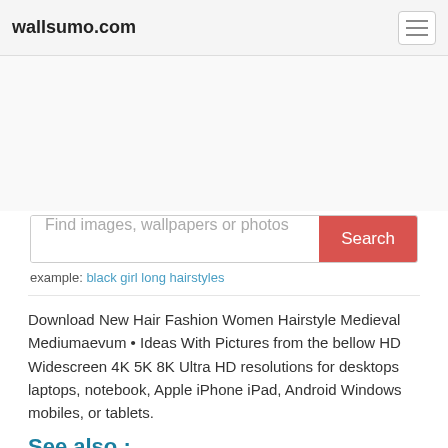wallsumo.com
Find images, wallpapers or photos
example: black girl long hairstyles
Download New Hair Fashion Women Hairstyle Medieval Mediumaevum • Ideas With Pictures from the bellow HD Widescreen 4K 5K 8K Ultra HD resolutions for desktops laptops, notebook, Apple iPhone iPad, Android Windows mobiles, or tablets.
See also :
AnglessBad Hair Loss Solution